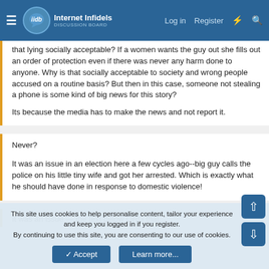Internet Infidels — Log in | Register
that lying socially acceptable? If a women wants the guy out she fills out an order of protection even if there was never any harm done to anyone. Why is that socially acceptable to society and wrong people accused on a routine basis? But then in this case, someone not stealing a phone is some kind of big news for this story?

Its because the media has to make the news and not report it.
Never?

It was an issue in an election here a few cycles ago--big guy calls the police on his little tiny wife and got her arrested. Which is exactly what he should have done in response to domestic violence!
This site uses cookies to help personalise content, tailor your experience and keep you logged in if you register.
By continuing to use this site, you are consenting to our use of cookies.